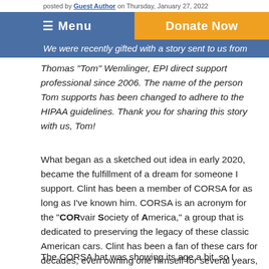posted by Guest Author on Thursday, January 27, 2022
≡ Menu   Donate Now
We were recently gifted with a story sent to us from
Thomas "Tom" Wemlinger, EPI direct support professional since 2006. The name of the person Tom supports has been changed to adhere to the HIPAA guidelines. Thank you for sharing this story with us, Tom!
What began as a sketched out idea in early 2020, became the fulfillment of a dream for someone I support. Clint has been a member of CORSA for as long as I've known him. CORSA is an acronym for the "CORvair Society of America," a group that is dedicated to preserving the legacy of these classic American cars. Clint has been a fan of these cars for decades, even owning one himself for several years, and he had the CORSA hat to prove it.
The CORSA hat was showing its age a bit, so I